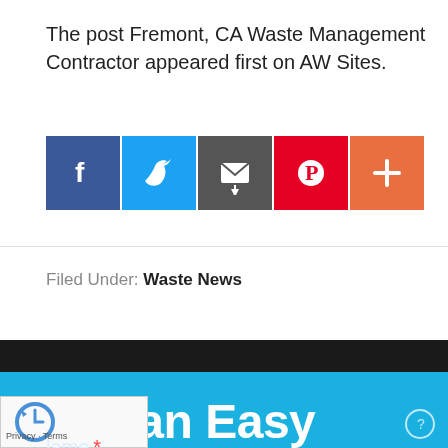The post Fremont, CA Waste Management Contractor appeared first on AW Sites.
[Figure (other): Social sharing buttons: Facebook (blue), Twitter (light blue), Email/share (dark gray), Pinterest (red), More/plus (orange)]
Filed Under: Waste News
Get an Easy Quote
Name *